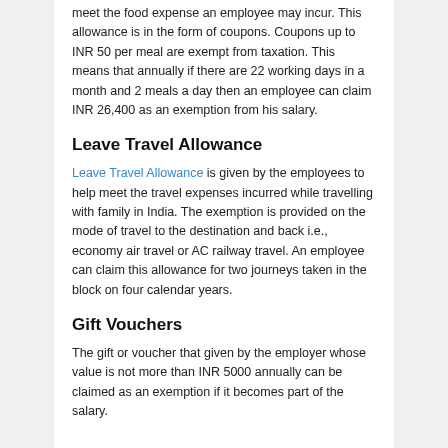meet the food expense an employee may incur. This allowance is in the form of coupons. Coupons up to INR 50 per meal are exempt from taxation. This means that annually if there are 22 working days in a month and 2 meals a day then an employee can claim INR 26,400 as an exemption from his salary.
Leave Travel Allowance
Leave Travel Allowance is given by the employees to help meet the travel expenses incurred while travelling with family in India. The exemption is provided on the mode of travel to the destination and back i.e., economy air travel or AC railway travel. An employee can claim this allowance for two journeys taken in the block on four calendar years.
Gift Vouchers
The gift or voucher that given by the employer whose value is not more than INR 5000 annually can be claimed as an exemption if it becomes part of the salary.